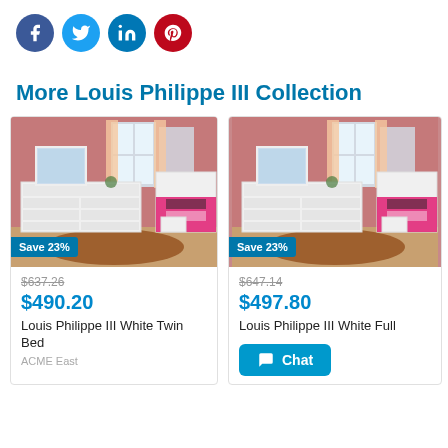[Figure (infographic): Social sharing icons: Facebook (blue circle), Twitter (light blue circle), LinkedIn (dark blue circle), Pinterest (red circle)]
More Louis Philippe III Collection
[Figure (photo): Louis Philippe III White Twin Bed bedroom scene with white furniture, pink walls, colorful bedding. Save 23% badge shown.]
$637.26 (strikethrough) $490.20
Louis Philippe III White Twin Bed
ACME East
[Figure (photo): Louis Philippe III White Full bedroom scene with white furniture, pink walls, colorful bedding. Save 23% badge shown.]
$647.14 (strikethrough) $497.80
Louis Philippe III White Full
[Figure (infographic): Chat button with speech bubble icon and text 'Chat']